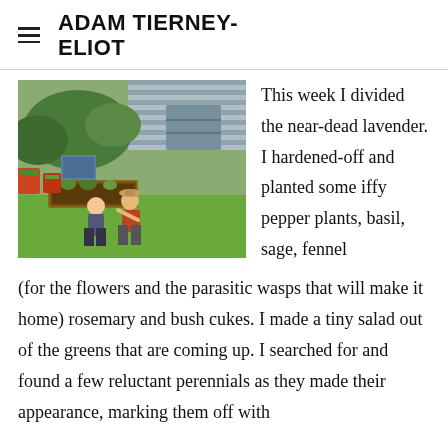ADAM TIERNEY-ELIOT
[Figure (photo): Two people crouching in a garden with raised beds, potted plants, and greenery in a backyard setting.]
This week I divided the near-dead lavender.  I hardened-off and planted some iffy pepper plants, basil, sage, fennel (for the flowers and the parasitic wasps that will make it home) rosemary and bush cukes.  I made a tiny salad out of the greens that are coming up.  I searched for and found a few reluctant perennials as they made their appearance, marking them off with